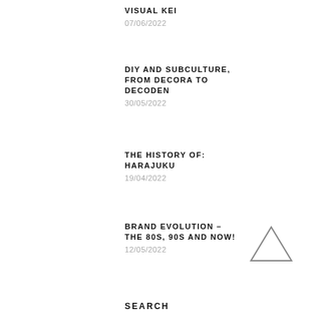VISUAL KEI
07/06/2022
DIY AND SUBCULTURE, FROM DECORA TO DECODEN
30/05/2022
THE HISTORY OF: HARAJUKU
19/04/2022
BRAND EVOLUTION – THE 80S, 90S AND NOW!
12/05/2022
[Figure (illustration): Upward-pointing triangle outline icon]
SEARCH